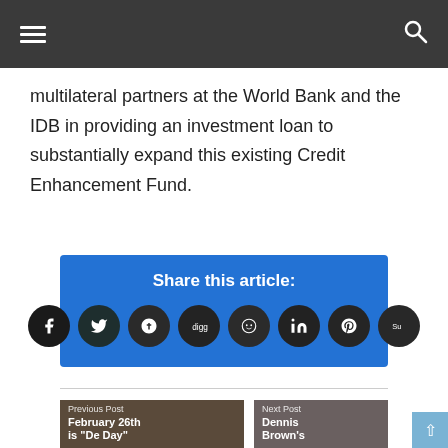☰  🔍
multilateral partners at the World Bank and the IDB in providing an investment loan to substantially expand this existing Credit Enhancement Fund.
[Figure (infographic): Share this article: blue box with social media icon buttons (Facebook, Twitter, Google+, Digg, Reddit, LinkedIn, Pinterest, StumbleUpon)]
[Figure (photo): Previous Post thumbnail – man seated indoors; caption reads 'Previous Post / February 26th is "De Day"']
[Figure (photo): Next Post thumbnail – woman with dreadlocks; caption reads 'Next Post / Dennis Brown's']